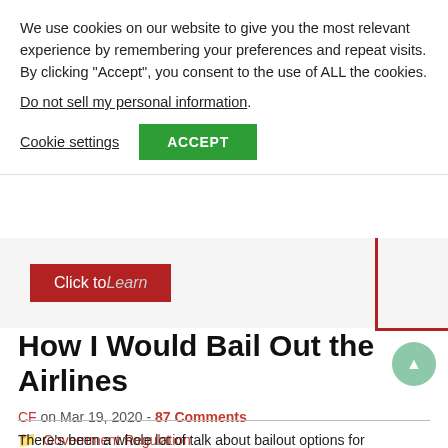We use cookies on our website to give you the most relevant experience by remembering your preferences and repeat visits. By clicking “Accept”, you consent to the use of ALL the cookies.
Do not sell my personal information.
Cookie settings
ACCEPT
[Figure (screenshot): Ad banner with red button reading 'Click to Learn' and a red L-shaped border on the right]
How I Would Bail Out the Airlines
CF on Mar 19, 2020 - 87 Comments
Government Regulation
There’s been a whole lot of talk about bailout options for